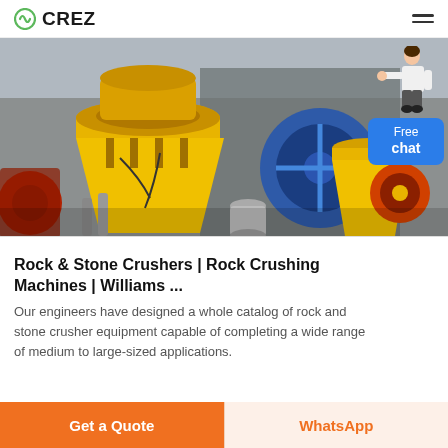CREZ
[Figure (photo): Industrial rock and stone crushing machinery — large yellow cone crusher in foreground with blue and red mechanical components visible in background, outdoor industrial setting]
[Figure (illustration): Free chat widget with a person figure pointing and a blue button labeled 'Free chat']
Rock & Stone Crushers | Rock Crushing Machines | Williams ...
Our engineers have designed a whole catalog of rock and stone crusher equipment capable of completing a wide range of medium to large-sized applications.
...
Get a Quote   WhatsApp